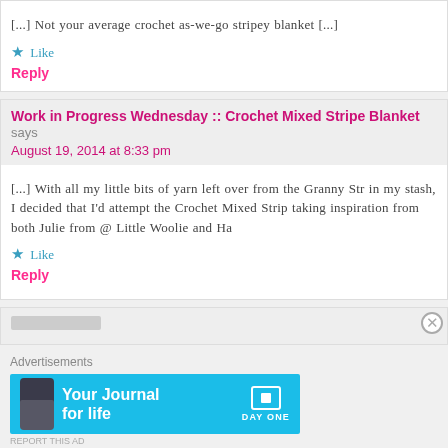[...] Not your average crochet as-we-go stripey blanket [...]
Like
Reply
Work in Progress Wednesday :: Crochet Mixed Stripe Blanket says
August 19, 2014 at 8:33 pm
[...] With all my little bits of yarn left over from the Granny Str in my stash, I decided that I'd attempt the Crochet Mixed Strip taking inspiration from both Julie from @ Little Woolie and Ha
Like
Reply
Advertisements
[Figure (infographic): Day One app advertisement banner - cyan/blue background with phone image, text 'Your Journal for life' and DAY ONE logo]